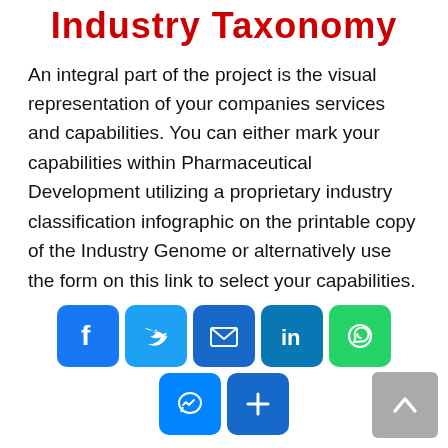Industry Taxonomy
An integral part of the project is the visual representation of your companies services and capabilities. You can either mark your capabilities within Pharmaceutical Development utilizing a proprietary industry classification infographic on the printable copy of the Industry Genome or alternatively use the form on this link to select your capabilities.
[Figure (infographic): Social media sharing buttons: Facebook, Twitter, Email, LinkedIn, WhatsApp, Messenger, Share]